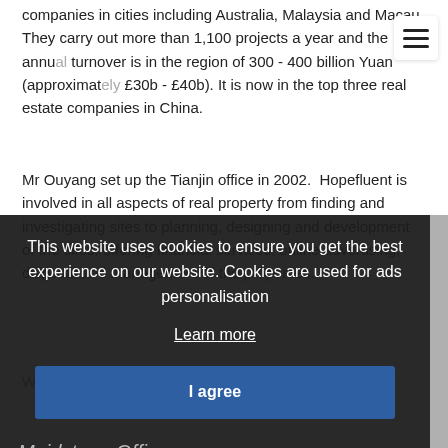companies in cities including Australia, Malaysia and Macau. They carry out more than 1,100 projects a year and the annual turnover is in the region of 300 - 400 billion Yuan (approximately £30b - £40b). It is now in the top three real estate companies in China.
Mr Ouyang set up the Tianjin office in 2002. Hopefluent is involved in all aspects of real property from finding and investigating sites to planning, designing and development of the sites, offering financial services, online advertising, disposal and management of the properties.
W... here in the U...
[Figure (screenshot): Cookie consent overlay with dark background reading: 'This website uses cookies to ensure you get the best experience on our website. Cookies are used for ads personalisation' with a 'Learn more' link and an 'I agree' button]
Maidstone Office
16 Mill Street, Maidstone, Kent, ME15 6XT